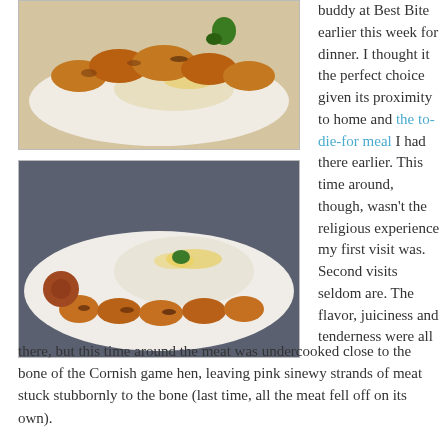[Figure (photo): Grilled chicken wings on a white plate with rice and herbs]
[Figure (photo): Grilled Cornish game hen pieces on a white plate with saffron rice and parsley]
buddy at Best Bite earlier this week for dinner. I thought it the perfect choice given its proximity to home and the to-die-for meal I had there earlier. This time around, though, wasn't the religious experience my first visit was. Second visits seldom are. The flavor, juiciness and tenderness were all there, but this time around the meat was undercooked close to the bone of the Cornish game hen, leaving pink sinewy strands of meat stuck stubbornly to the bone (last time, all the meat fell off on its own).